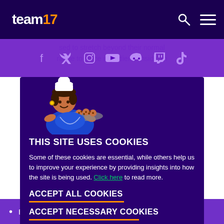team17
[Figure (screenshot): Social media icons: Facebook, Twitter, Instagram, YouTube, Discord, Twitch, TikTok on purple background]
sed to stretch beyond their normal range to place ingredients inside an
[Figure (illustration): Cartoon character - a woman in blue chef outfit holding a tray of cookies]
THIS SITE USES COOKIES
Some of these cookies are essential, while others help us to improve your experience by providing insights into how the site is being used. Click here to read more.
ACCEPT ALL COOKIES
ACCEPT NECESSARY COOKIES
Bugfix: if the simulation was stopped